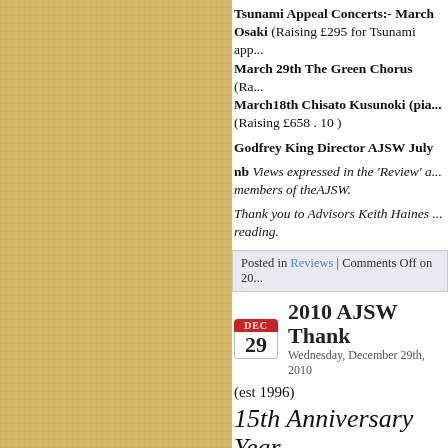Tsunami Appeal Concerts:- March ... Osaki (Raising £295 for Tsunami app... March 29th The Green Chorus (Ra... March18th Chisato Kusunoki (pia... (Raising £658 . 10 )
Godfrey King Director AJSW July...
nb Views expressed in the 'Review' a... members of theAJSW.
Thank you to Advisors Keith Haines ... reading.
Posted in Reviews | Comments Off on 20...
2010 AJSW Thank ... Wednesday, December 29th, 2010
(est 1996)
15th Anniversary Year
.....and thank you to those who helpe... support the society in 2010, member... not, in the continuing economically difficult times where good-will was spread over a broader base where th... generally consistent exceptional star... of the musicians, be they Japanese o...